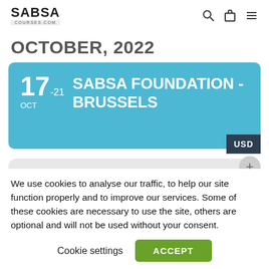SABSA COURSES.COM
OCTOBER, 2022
17-21 OCT  SABSA FOUNDATION - BRUSSELS
We use cookies to analyse our traffic, to help our site function properly and to improve our services. Some of these cookies are necessary to use the site, others are optional and will not be used without your consent.
Cookie settings  ACCEPT